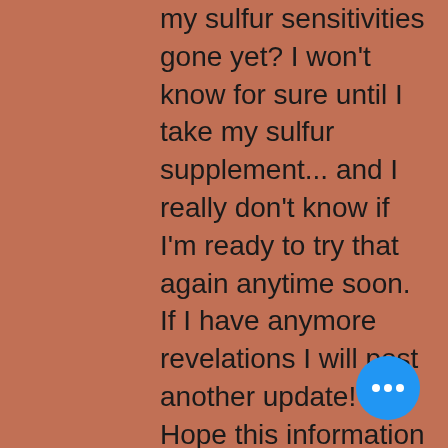my sulfur sensitivities gone yet? I won't know for sure until I take my sulfur supplement... and I really don't know if I'm ready to try that again anytime soon. If I have anymore revelations I will post another update! Hope this information has been helpful! Blessings!
Update December 9, 2020: I finally found a supplement that appears to stop my migraines- including the detoxification migraines, aches and pains I suffer from when ingesting organic sulfur! The answer is grapefruit seed extract! Wow! Finally an answer! I've been taking sulfur for the past 7 days! No migraines thanks to grapefruit seed extract! Amazing!